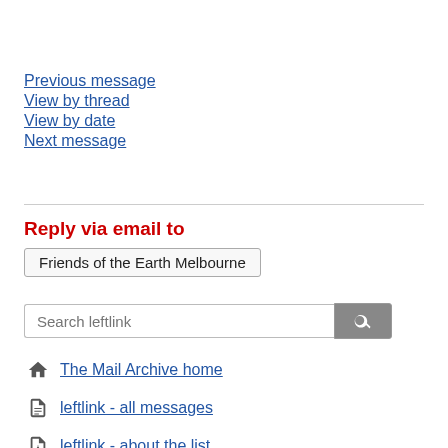Previous message
View by thread
View by date
Next message
Reply via email to
Friends of the Earth Melbourne
Search leftlink
The Mail Archive home
leftlink - all messages
leftlink - about the list
Expand